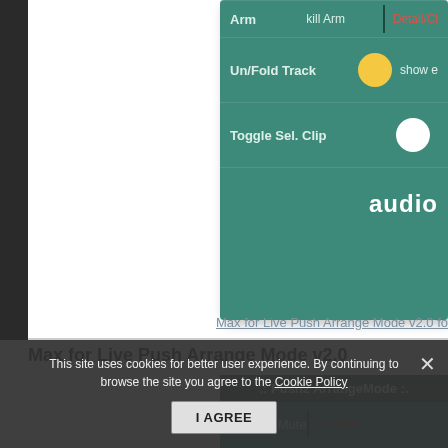[Figure (screenshot): Top portion of a webpage showing a teal UI panel for Max for Live Push Arrange Mode. Panel rows show: Arm / kill Arm / Detail/Clip, Un/Fold Track with yellow circle button / show e..., Toggle Sel. Clip with white circle / audio label]
Max for Live Push Arrange Mode v2.0 fo...
Max for Live Push Arrange Mode v2.0
[Figure (screenshot): Second teal panel showing Push2 ArrangeMode interface with rows: Mute / kill Mute / Browser, Solo / kill Solo / Timeline, Arm / kill Arm (with yellow arrow icon) / tail/Clip, On/Fold Track with circle / show e...]
This site uses cookies for better user experience. By continuing to browse the site you agree to the Cookie Policy
I AGREE